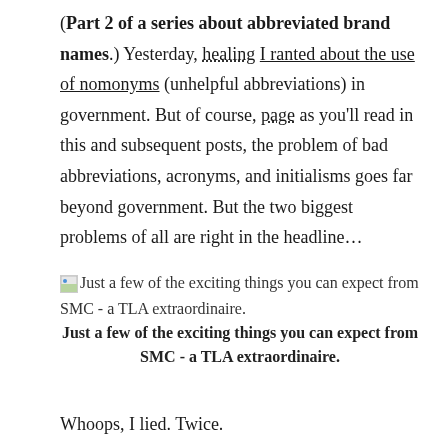(Part 2 of a series about abbreviated brand names.) Yesterday, healing I ranted about the use of nomonyms (unhelpful abbreviations) in government. But of course, page as you'll read in this and subsequent posts, the problem of bad abbreviations, acronyms, and initialisms goes far beyond government. But the two biggest problems of all are right in the headline...
[Figure (illustration): Broken image icon (small thumbnail placeholder with landscape colors)]
Just a few of the exciting things you can expect from SMC - a TLA extraordinaire.
Just a few of the exciting things you can expect from SMC - a TLA extraordinaire.
Whoops, I lied. Twice.